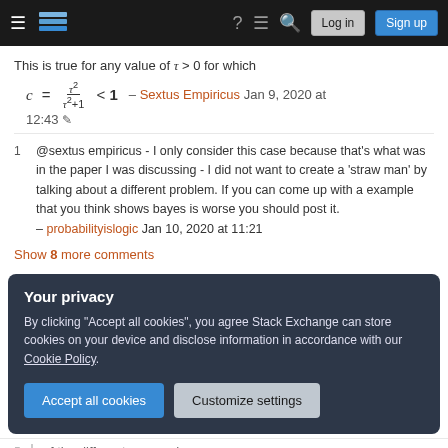Stack Exchange navigation bar with Log in and Sign up buttons
This is true for any value of τ > 0 for which
– Sextus Empiricus Jan 9, 2020 at 12:43
@sextus empiricus - I only consider this case because that's what was in the paper I was discussing - I did not want to create a 'straw man' by talking about a different problem. If you can come up with a example that you think shows bayes is worse you should post it. – probabilityislogic Jan 10, 2020 at 11:21
Show 8 more comments
Your privacy
By clicking "Accept all cookies", you agree Stack Exchange can store cookies on your device and disclose information in accordance with our Cookie Policy.
Accept all cookies   Customize settings
of the different approaches.